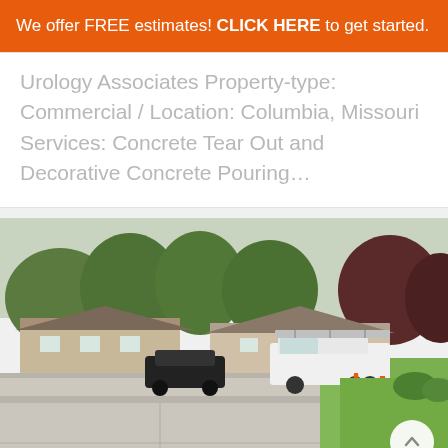We offer FREE estimates! CLICK HERE to get started.
Urology Associates Property-type: Commercial / Location: Columbia, Missouri Services: Concrete Tear Out and Decorative Concrete Pouring…
[Figure (photo): Construction site photo showing a commercial property parking lot with fresh concrete work. An orange traffic cone is visible, and a white utility/work truck with a ladder rack is parked in the background. A residential-style commercial building is visible in the background with green trees and a dark-leafed tree. Cars are parked in the lot. Green lawn areas are visible on the right side.]